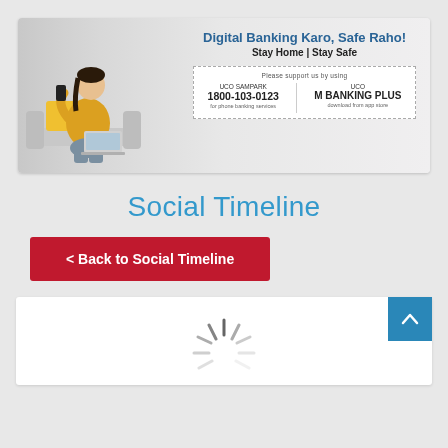[Figure (infographic): UCO Bank digital banking banner with a woman sitting on a sofa using a phone and laptop. Text: 'Digital Banking Karo, Safe Raho! Stay Home | Stay Safe'. Info box showing UCO SAMPARK 1800-103-0123 for phone banking services, and UCO M BANKING PLUS download from app store.]
Social Timeline
< Back to Social Timeline
[Figure (other): White card content area with a loading spinner graphic (radiating lines in a burst pattern) indicating content is loading.]